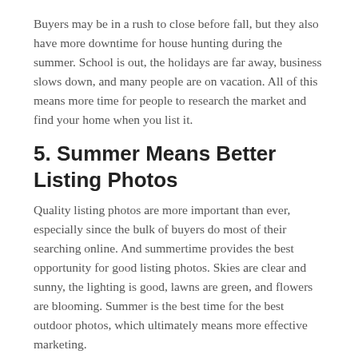Buyers may be in a rush to close before fall, but they also have more downtime for house hunting during the summer. School is out, the holidays are far away, business slows down, and many people are on vacation. All of this means more time for people to research the market and find your home when you list it.
5. Summer Means Better Listing Photos
Quality listing photos are more important than ever, especially since the bulk of buyers do most of their searching online. And summertime provides the best opportunity for good listing photos. Skies are clear and sunny, the lighting is good, lawns are green, and flowers are blooming. Summer is the best time for the best outdoor photos, which ultimately means more effective marketing.
6. Greater Curb Appeal
Similarly, summer is the best time to sell your Baltimore